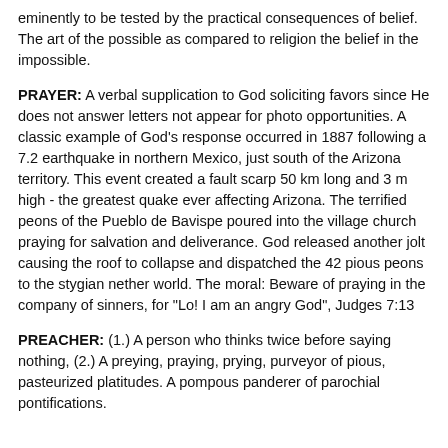eminently to be tested by the practical consequences of belief. The art of the possible as compared to religion the belief in the impossible.
PRAYER: A verbal supplication to God soliciting favors since He does not answer letters not appear for photo opportunities. A classic example of God's response occurred in 1887 following a 7.2 earthquake in northern Mexico, just south of the Arizona territory. This event created a fault scarp 50 km long and 3 m high - the greatest quake ever affecting Arizona. The terrified peons of the Pueblo de Bavispe poured into the village church praying for salvation and deliverance. God released another jolt causing the roof to collapse and dispatched the 42 pious peons to the stygian nether world. The moral: Beware of praying in the company of sinners, for "Lo! I am an angry God", Judges 7:13
PREACHER: (1.) A person who thinks twice before saying nothing, (2.) A preying, praying, prying, purveyor of pious, pasteurized platitudes. A pompous panderer of parochial pontifications.